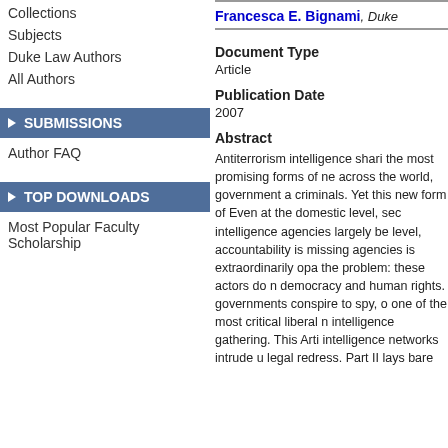Collections
Subjects
Duke Law Authors
All Authors
SUBMISSIONS
Author FAQ
TOP DOWNLOADS
Most Popular Faculty Scholarship
Francesca E. Bignami, Duke
Document Type
Article
Publication Date
2007
Abstract
Antiterrorism intelligence sharing is one of the most promising forms of ne across the world, government agencies conspire to track criminals. Yet this new form of cooperation raises concerns. Even at the domestic level, security and intelligence agencies largely belong to a different level, accountability is missing agencies is extraordinarily opaque the problem: these actors do not democracy and human rights. governments conspire to spy, one of the most critical liberal rights intelligence gathering. This Article intelligence networks intrude u legal redress. Part II lays bare